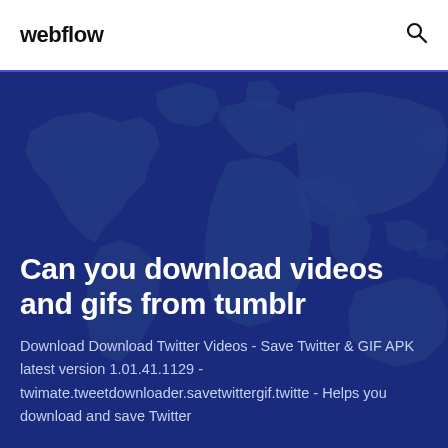webflow
[Figure (illustration): World map illustration with blue tones on dark blue background, used as hero section background]
Can you download videos and gifs from tumblr
Download Download Twitter Videos - Save Twitter & GIF APK latest version 1.01.41.1129 - twimate.tweetdownloader.savetwittergif.twitte - Helps you download and save Twitter